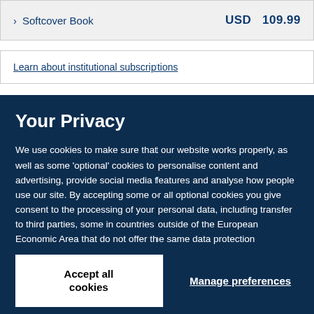> Softcover Book   USD  109.99
Learn about institutional subscriptions
Your Privacy
We use cookies to make sure that our website works properly, as well as some 'optional' cookies to personalise content and advertising, provide social media features and analyse how people use our site. By accepting some or all optional cookies you give consent to the processing of your personal data, including transfer to third parties, some in countries outside of the European Economic Area that do not offer the same data protection standards as the country where you live. You can decide which optional cookies to accept by clicking on 'Manage Settings', where you can also find more information about how your personal data is processed. Further information can be found in our privacy policy.
Accept all cookies
Manage preferences